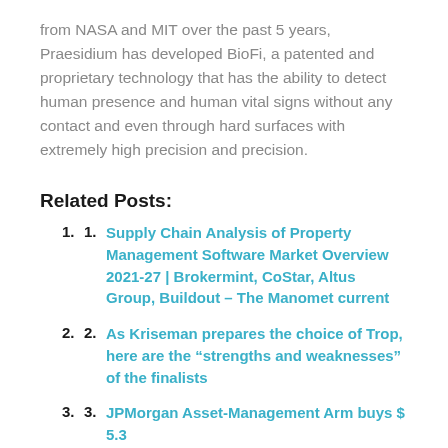from NASA and MIT over the past 5 years, Praesidium has developed BioFi, a patented and proprietary technology that has the ability to detect human presence and human vital signs without any contact and even through hard surfaces with extremely high precision and precision.
Related Posts:
Supply Chain Analysis of Property Management Software Market Overview 2021-27 | Brokermint, CoStar, Altus Group, Buildout – The Manomet current
As Kriseman prepares the choice of Trop, here are the “strengths and weaknesses” of the finalists
JPMorgan Asset-Management Arm buys $ 5.3